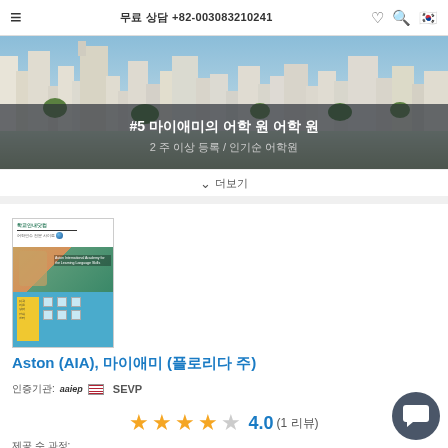≡  무료 상담 +82-003083210241  ♡  🔍  🇰🇷
[Figure (photo): City skyline banner with buildings, overlaid with Korean text: #5 마이애미의 어학 원 / 2 주 이상 등록 / 인기순 어학원]
∨ 더보기
[Figure (photo): Book/brochure cover for Aston (AIA) school in Miami, showing a tropical school building with a person and signage]
Aston (AIA), 마이애미 (플로리다 주)
인증기관:  aaiep  SEVP
★★★★☆  4.0  (1 리뷰)
제공 수 과정: